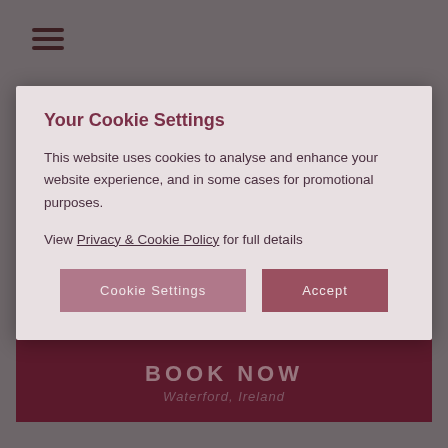[Figure (screenshot): Website screenshot showing Timbertoes Bar page with hamburger menu icon, bar name heading, VIEW NOW button, social media icons (Facebook, Twitter, Instagram, TripAdvisor), and BOOK NOW bar at bottom, all partially obscured by cookie settings modal]
Your Cookie Settings
This website uses cookies to analyse and enhance your website experience, and in some cases for promotional purposes.
View Privacy & Cookie Policy for full details
Cookie Settings
Accept